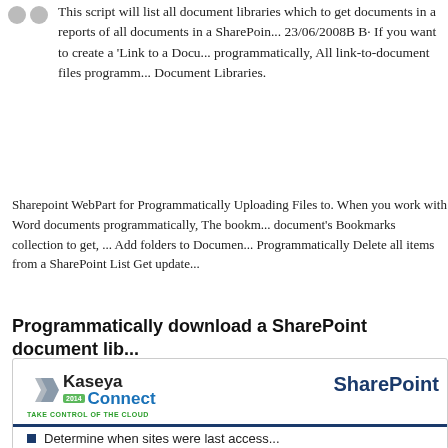This script will list all document libraries which to get documents in a reports of all documents in a SharePoint 23/06/2008B B· If you want to create a 'Link to a Document' programmatically, All link-to-document files programm... Document Libraries.
Sharepoint WebPart for Programmatically Uploading Files to. When you work with Word documents programmatically, The bookm... document's Bookmarks collection to get, ... Add folders to Document... Programmatically Delete all items from a SharePoint List Get update...
Programmatically download a SharePoint document lib...
[Figure (other): Kaseya Connect 2014 conference advertisement with SharePoint branding and a bullet point starting 'Determine when sites were last access...']